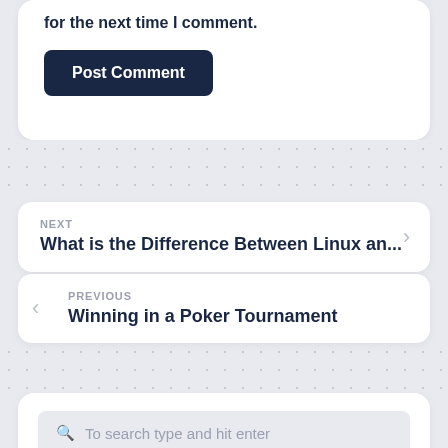for the next time I comment.
Post Comment
NEXT
What is the Difference Between Linux an...
PREVIOUS
Winning in a Poker Tournament
To search type and hit enter